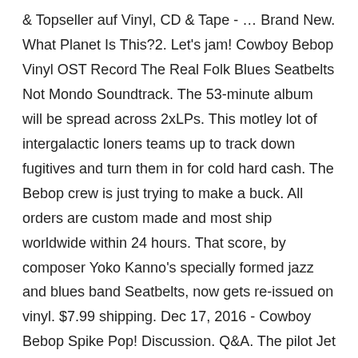& Topseller auf Vinyl, CD & Tape - … Brand New. What Planet Is This?2. Let's jam! Cowboy Bebop Vinyl OST Record The Real Folk Blues Seatbelts Not Mondo Soundtrack. The 53-minute album will be spread across 2xLPs. This motley lot of intergalactic loners teams up to track down fugitives and turn them in for cold hard cash. The Bebop crew is just trying to make a buck. All orders are custom made and most ship worldwide within 24 hours. That score, by composer Yoko Kanno's specially formed jazz and blues band Seatbelts, now gets re-issued on vinyl. $7.99 shipping. Dec 17, 2016 - Cowboy Bebop Spike Pop! Discussion. Q&A. The pilot Jet is a bruiser of a brute who can't wait to collect the next bounty. Inspired designs on t-shirts, posters, stickers, home decor, and more by independent artists and designers from around the world. The legendary original soundtrack to Cowboy Bebop is finally available on vinyl! So Mushroom Hunting was very different from what I expected, and the male vocal version of Rain felt different as well. Piano Black5. Piano Black. UPDATE: You can pre-order DIGITAL NEW Smart Contract & Token Delivery Collectio...